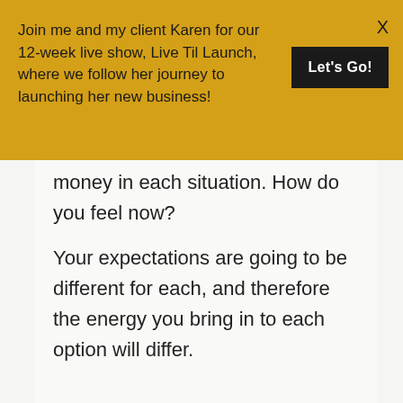Join me and my client Karen for our 12-week live show, Live Til Launch, where we follow her journey to launching her new business!
Let's Go!
X
money in each situation. How do you feel now?

Your expectations are going to be different for each, and therefore the energy you bring in to each option will differ.